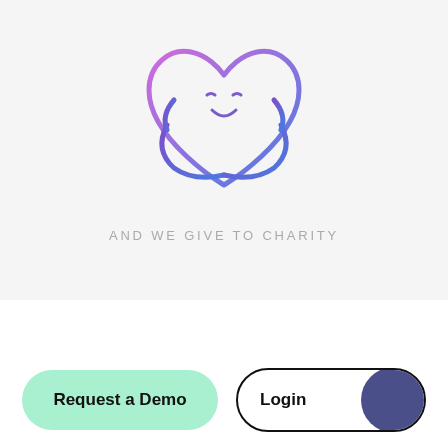[Figure (illustration): Cartoon heart with a smiley face hugging itself, outlined in a purple-to-blue gradient, on a light gray background]
AND WE GIVE TO CHARITY
[Figure (other): Green pill-shaped button labeled 'Request a Demo' and a white pill-shaped button labeled 'Login' with a dark navy circle on the right side]